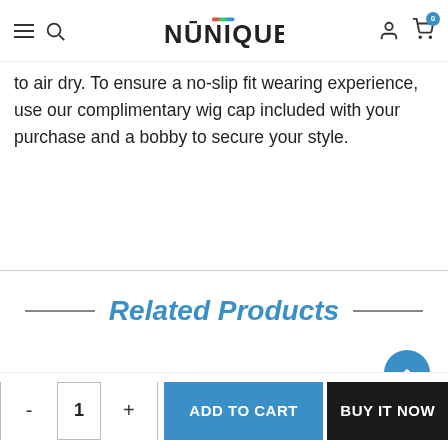NUNIQUE - navigation header with hamburger menu, search, logo, account, and cart icons
to air dry. To ensure a no-slip fit wearing experience, use our complimentary wig cap included with your purchase and a bobby to secure your style.
Related Products
- 1 + ADD TO CART BUY IT NOW